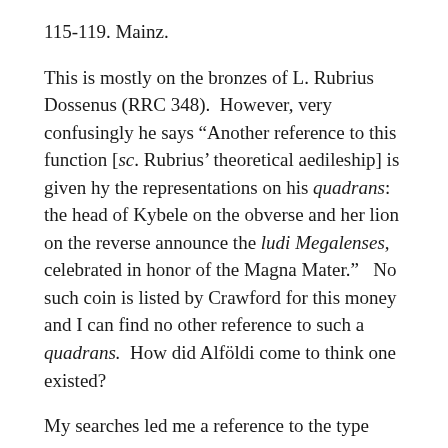115-119. Mainz.
This is mostly on the bronzes of L. Rubrius Dossenus (RRC 348).  However, very confusingly he says “Another reference to this function [sc. Rubrius’ theoretical aedileship] is given hy the representations on his quadrans: the head of Kybele on the obverse and her lion on the reverse announce the ludi Megalenses, celebrated in honor of the Magna Mater.”   No such coin is listed by Crawford for this money and I can find no other reference to such a quadrans.  How did Alföldi come to think one existed?
My searches led me a reference to the type